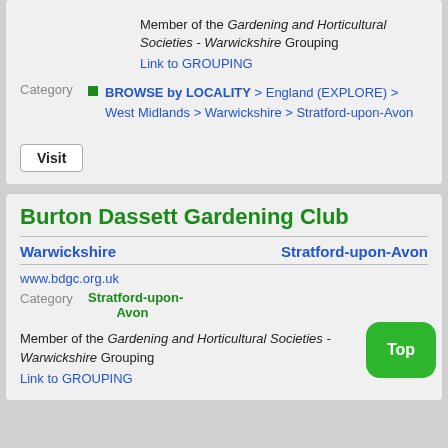Member of the Gardening and Horticultural Societies - Warwickshire Grouping
Link to GROUPING
Category
BROWSE by LOCALITY > England (EXPLORE) > West Midlands > Warwickshire > Stratford-upon-Avon
Visit
Burton Dassett Gardening Club
Warwickshire    Stratford-upon-Avon
www.bdgc.org.uk
Category Stratford-upon-Avon
Member of the Gardening and Horticultural Societies - Warwickshire Grouping
Link to GROUPING